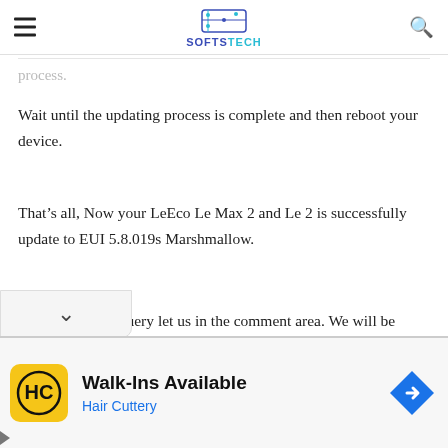SOFTSTECH
process.
Wait until the updating process is complete and then reboot your device.
That's all, Now your LeEco Le Max 2 and Le 2 is successfully update to EUI 5.8.019s Marshmallow.
If you have any query let us in the comment area. We will be happy to assist you!
[Figure (screenshot): Advertisement banner: Walk-Ins Available – Hair Cuttery, with HC logo in yellow square and blue diamond arrow icon]